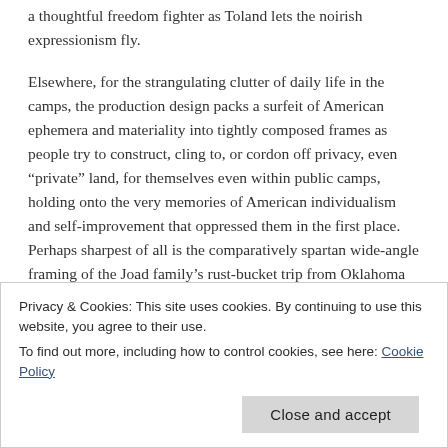a thoughtful freedom fighter as Toland lets the noirish expressionism fly.
Elsewhere, for the strangulating clutter of daily life in the camps, the production design packs a surfeit of American ephemera and materiality into tightly composed frames as people try to construct, cling to, or cordon off privacy, even “private” land, for themselves even within public camps, holding onto the very memories of American individualism and self-improvement that oppressed them in the first place. Perhaps sharpest of all is the comparatively spartan wide-angle framing of the Joad family’s rust-bucket trip from Oklahoma to the apocryphal promised land of California:
Privacy & Cookies: This site uses cookies. By continuing to use this website, you agree to their use.
To find out more, including how to control cookies, see here: Cookie Policy